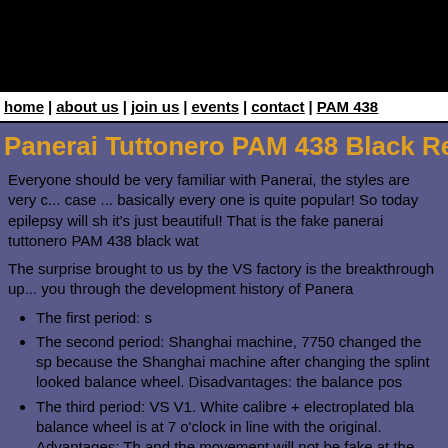home | about us | join us | events | contact | PAM 438
Panerai Tuttonero PAM 438 Black Replica Wa...
Everyone should be very familiar with Panerai, the styles are very case ... basically every one is quite popular! So today epilepsy will show it's just beautiful! That is the fake panerai tuttonero PAM 438 black wat...
The surprise brought to us by the VS factory is the breakthrough up... you through the development history of Panera...
The first period: s...
The second period: Shanghai machine, 7750 changed the sp... because the Shanghai machine after changing the splint looked... balance wheel. Disadvantages: the balance pos...
The third period: VS V1. White calibre + electroplated bla... balance wheel is at 7 o'clock in line with the original. Advantages: Th... and the movement will not be fake at the back. Disadvantages: Th...
The fourth period: VS V2. Brand new plain black movement, each...